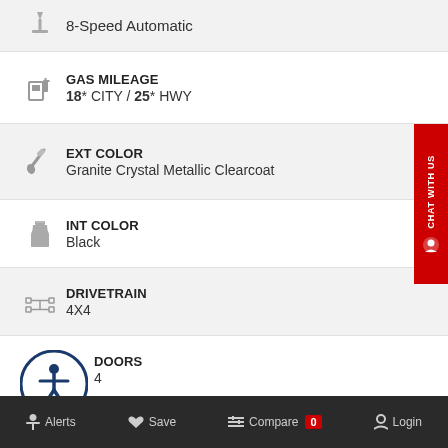8-Speed Automatic
GAS MILEAGE
18* CITY / 25* HWY
EXT COLOR
Granite Crystal Metallic Clearcoat
INT COLOR
Black
DRIVETRAIN
4X4
DOORS
4
Alerts  Save  Compare 0  Login